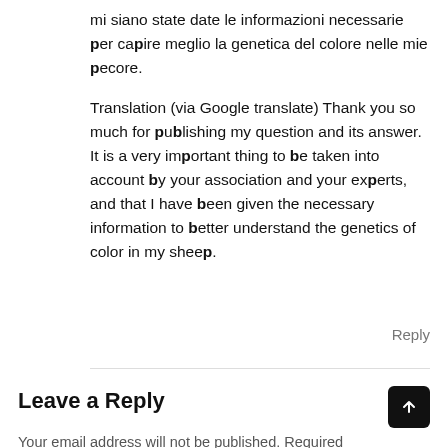mi siano state date le informazioni necessarie per capire meglio la genetica del colore nelle mie pecore.
Translation (via Google translate) Thank you so much for publishing my question and its answer. It is a very important thing to be taken into account by your association and your experts, and that I have been given the necessary information to better understand the genetics of color in my sheep.
Reply
Leave a Reply
Your email address will not be published. Required